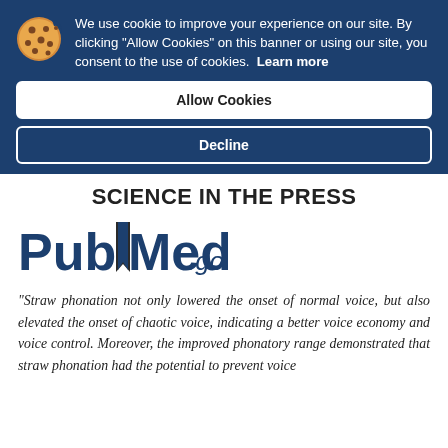We use cookie to improve your experience on our site. By clicking "Allow Cookies" on this banner or using our site, you consent to the use of cookies. Learn more
Allow Cookies
Decline
SCIENCE IN THE PRESS
[Figure (logo): PubMed.gov logo — blue bold sans-serif 'PubMed' with bookmark graphic, '.gov' in smaller blue italic text]
"Straw phonation not only lowered the onset of normal voice, but also elevated the onset of chaotic voice, indicating a better voice economy and voice control. Moreover, the improved phonatory range demonstrated that straw phonation had the potential to prevent voice